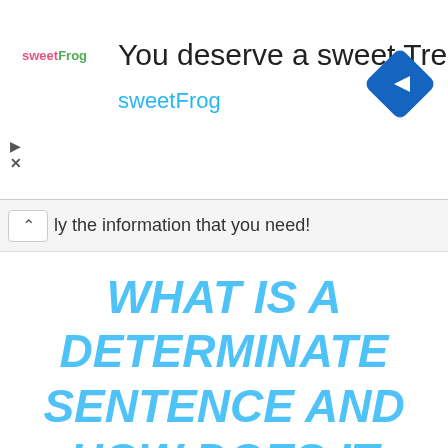[Figure (screenshot): SweetFrog advertisement banner with logo, title 'You deserve a sweet Treat', subtitle 'sweetFrog', and a blue diamond navigation icon]
ly the information that you need!
WHAT IS A DETERMINATE SENTENCE AND HOW DOES IT WORK!